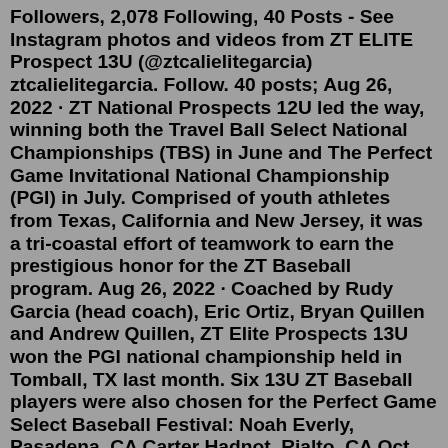Followers, 2,078 Following, 40 Posts - See Instagram photos and videos from ZT ELITE Prospect 13U (@ztcalielitegarcia) ztcalielitegarcia. Follow. 40 posts; Aug 26, 2022 · ZT National Prospects 12U led the way, winning both the Travel Ball Select National Championships (TBS) in June and The Perfect Game Invitational National Championship (PGI) in July. Comprised of youth athletes from Texas, California and New Jersey, it was a tri-coastal effort of teamwork to earn the prestigious honor for the ZT Baseball program. Aug 26, 2022 · Coached by Rudy Garcia (head coach), Eric Ortiz, Bryan Quillen and Andrew Quillen, ZT Elite Prospects 13U won the PGI national championship held in Tomball, TX last month. Six 13U ZT Baseball players were also chosen for the Perfect Game Select Baseball Festival: Noah Everly, Pasadena, CA Carter Hadnot, Rialto, CA Oct 20, 2021 · 2022 13U Spring Series in Vegas Super Regional NIT (MAJOR) (2-1-0) Apr 29-May 1 Huntington Beach, CA 2022 14U PG Super Regional NIT at Huntington Beach (MAJOR) (5-0-0) May 29